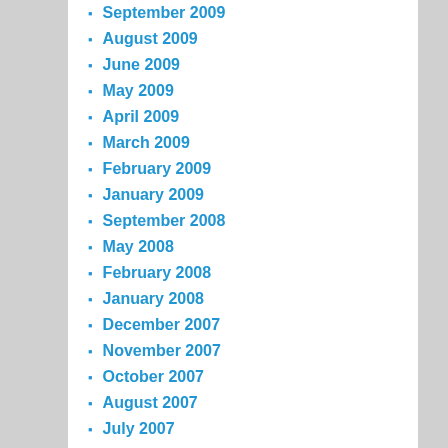September 2009
August 2009
June 2009
May 2009
April 2009
March 2009
February 2009
January 2009
September 2008
May 2008
February 2008
January 2008
December 2007
November 2007
October 2007
August 2007
July 2007
May 2007
November 2006
April 2006
October 2005
September 2005